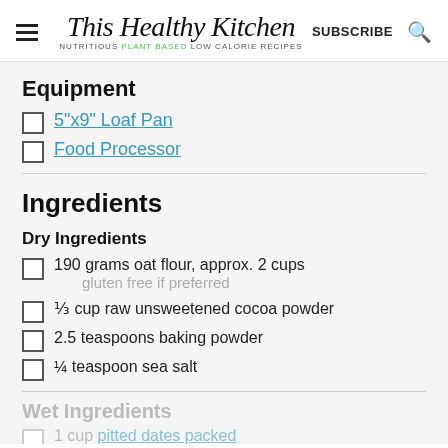This Healthy Kitchen — NUTRITIOUS PLANT BASED LOW CALORIE RECIPES — SUBSCRIBE
Equipment
5"x9" Loaf Pan
Food Processor
Ingredients
Dry Ingredients
190 grams oat flour, approx. 2 cups gluten free if preferred
⅓ cup raw unsweetened cocoa powder
2.5 teaspoons baking powder
¼ teaspoon sea salt
Wet Ingredients
1 cup pitted dates packed